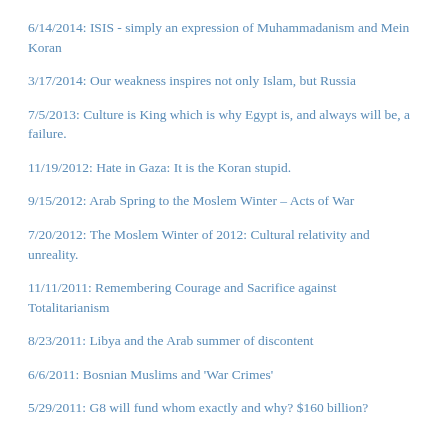6/14/2014:  ISIS - simply an expression of Muhammadanism and Mein Koran
3/17/2014:  Our weakness inspires not only Islam, but Russia
7/5/2013:  Culture is King which is why Egypt is, and always will be, a failure.
11/19/2012:  Hate in Gaza: It is the Koran stupid.
9/15/2012:  Arab Spring to the Moslem Winter – Acts of War
7/20/2012:  The Moslem Winter of 2012: Cultural relativity and unreality.
11/11/2011:  Remembering Courage and Sacrifice against Totalitarianism
8/23/2011:  Libya and the Arab summer of discontent
6/6/2011:  Bosnian Muslims and 'War Crimes'
5/29/2011:  G8 will fund whom exactly and why? $160 billion?